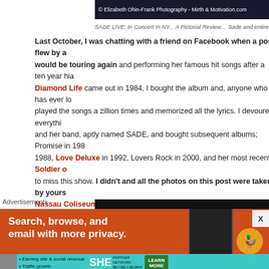[Figure (photo): Dark concert photo with copyright text: © Elizabeth Ohin-Frank Photography - Mirth & Motivation.com]
SADE LIVE: In Concert In NY... A Pictorial Review… Sade and entire ba
Last October, I was chatting with a friend on Facebook when a post flew by a... would be touring again and performing her famous hit songs after a ten year hia... Diamond Life came out in 1984, I bought the album and, anyone who has ever lo... played the songs a zillion times and memorized all the lyrics. I devoured everythi... and her band, aptly named SADE, and bought subsequent albums; Promise in 198... 1988, Love Deluxe in 1992, Lovers Rock in 2000, and her most recent, Soldier o... to miss this show. I didn't and all the photos on this post were taken by yours... Nassau Coliseum.
[Figure (photo): Dark concert venue photo, mostly black background]
Advertisements
[Figure (screenshot): Orange DuckDuckGo advertisement: Search, browse, and email with more privacy. Shows phone and duck logo.]
[Figure (screenshot): Teal SHE Partner Network advertisement: Earning site & social revenue, Traffic growth. LEARN MORE button.]